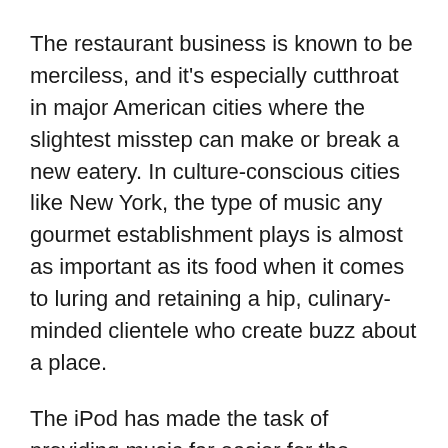The restaurant business is known to be merciless, and it's especially cutthroat in major American cities where the slightest misstep can make or break a new eatery. In culture-conscious cities like New York, the type of music any gourmet establishment plays is almost as important as its food when it comes to luring and retaining a hip, culinary-minded clientele who create buzz about a place.
The iPod has made the task of providing music far easier for the restaurateur, since they no longer have to worry about changing CDs or dealing with generic, piped-in music services that play the same songs over and over, boring customers and staff to tears. But it' still time-consuming and requires a lot of thought to come up with appropriate playlists that match the cuisine, decor and clientele that come in